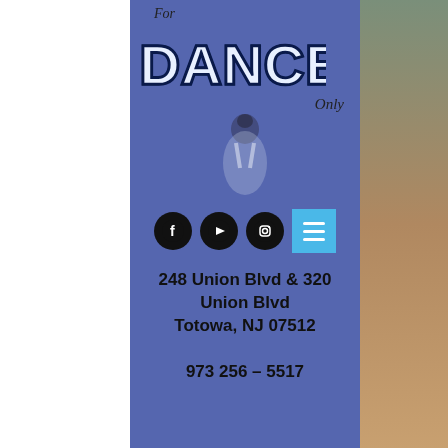[Figure (logo): For Dancers Only logo with stylized striped text on blue background with ballet dancer silhouette]
[Figure (infographic): Social media icons: Facebook, YouTube, Instagram circles, and a cyan hamburger menu button]
248 Union Blvd  &  320 Union Blvd
Totowa, NJ 07512
973 256 - 5517